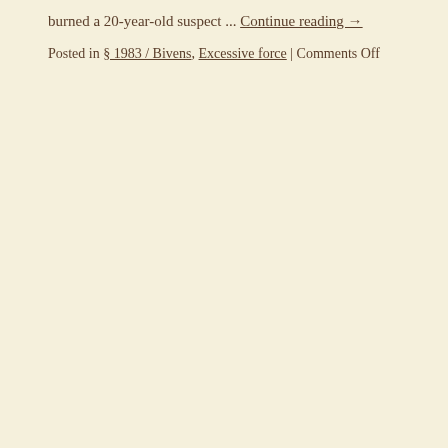burned a 20-year-old suspect ... Continue reading →
Posted in § 1983 / Bivens, Excessive force | Comments Off